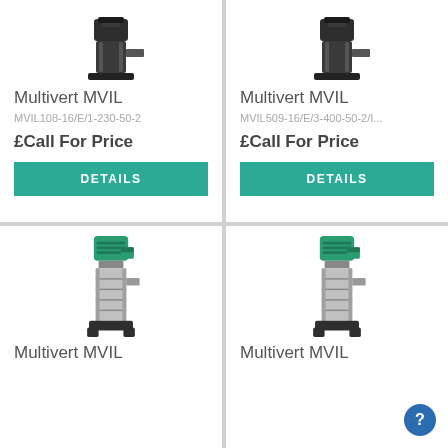[Figure (photo): Wilo Multivert MVIL pump unit, small dark body with motor on top]
Multivert MVIL
MVIL108-16/E/1-230-50-2
£Call For Price
DETAILS
[Figure (photo): Wilo Multivert MVIL pump unit, small dark body with motor on top]
Multivert MVIL
MVIL509-16/E/3-400-50-2/I...
£Call For Price
DETAILS
[Figure (photo): Wilo Multivert MVIL vertical multistage pump with green motor and stainless steel body]
Multivert MVIL
[Figure (photo): Wilo Multivert MVIL vertical multistage pump with green motor and stainless steel body]
Multivert MVIL